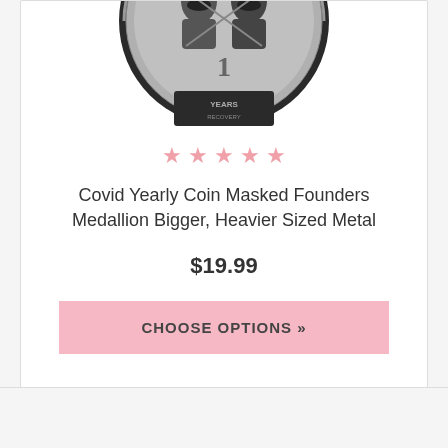[Figure (photo): Partial view of a coin/medallion showing two figures with masks, text reading YEARS at the bottom]
★ ★ ★ ★ ★
Covid Yearly Coin Masked Founders Medallion Bigger, Heavier Sized Metal
$19.99
CHOOSE OPTIONS »